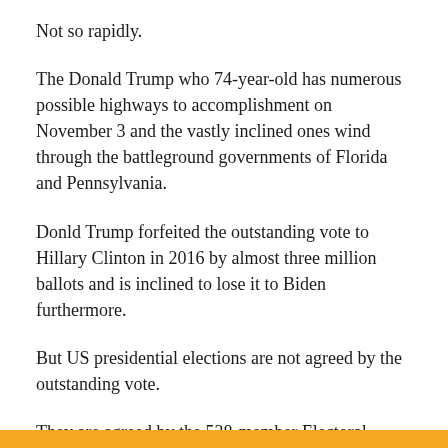Not so rapidly.
The Donald Trump who 74-year-old has numerous possible highways to accomplishment on November 3 and the vastly inclined ones wind through the battleground governments of Florida and Pennsylvania.
Donld Trump forfeited the outstanding vote to Hillary Clinton in 2016 by almost three million ballots and is inclined to lose it to Biden furthermore.
But US presidential elections are not agreed by the outstanding vote.
They are agreed by the 538-member Electoral College and Trump could discover a means to grate jointly sufficient electoral ballots to win.
Every of the 50 United States states plus Washington DC has various electoral ballots comparable to their